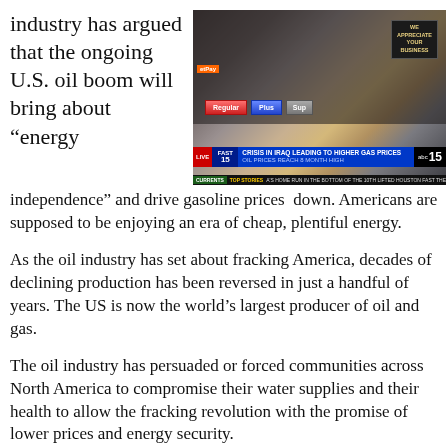industry has argued that the ongoing U.S. oil boom will bring about “energy independence” and drive gasoline prices down. Americans are supposed to be enjoying an era of cheap, plentiful energy.
[Figure (screenshot): TV news screenshot showing a gas station with a news ticker overlay reading 'CRISIS IN IRAQ LEADING TO HIGHER GAS PRICES / OIL PRICES REACH 8 MONTH HIGH' on ABC 15, with a LIVE FAST 15 banner and scrolling bottom ticker about a home run in Houston.]
As the oil industry has set about fracking America, decades of declining production has been reversed in just a handful of years. The US is now the world’s largest producer of oil and gas.
The oil industry has persuaded or forced communities across North America to compromise their water supplies and their health to allow the fracking revolution with the promise of lower prices and energy security.